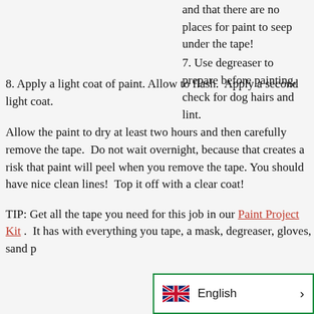and that there are no places for paint to seep under the tape!
7. Use degreaser to prepare before painting, check for dog hairs and lint.
8. Apply a light coat of paint. Allow to flash.  Apply a second light coat.
Allow the paint to dry at least two hours and then carefully remove the tape.  Do not wait overnight, because that creates a risk that paint will peel when you remove the tape. You should have nice clean lines!  Top it off with a clear coat!
TIP: Get all the tape you need for this job in our Paint Project Kit .  It has with everything you tape, a mask, degreaser, gloves, sand p